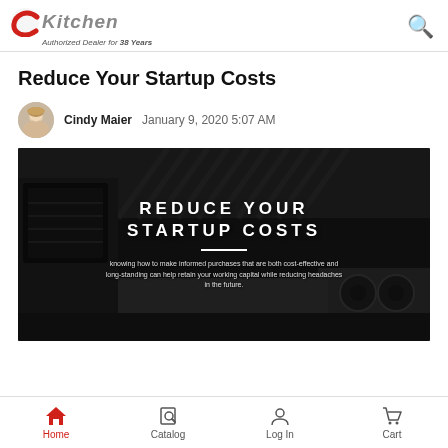CKitchen — Authorized Dealer for 38 Years
Reduce Your Startup Costs
Cindy Maier   January 9, 2020 5:07 AM
[Figure (photo): Hero image of commercial kitchen with text overlay reading REDUCE YOUR STARTUP COSTS with subtitle: Knowing how to make informed purchases that are both cost-effective and long-standing can help retain your working capital while reducing headaches in the future.]
Home   Catalog   Log In   Cart